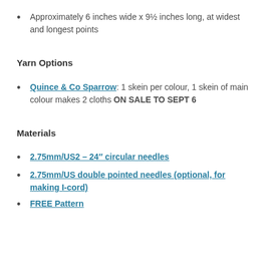Approximately 6 inches wide x 9½ inches long, at widest and longest points
Yarn Options
Quince & Co Sparrow: 1 skein per colour, 1 skein of main colour makes 2 cloths ON SALE TO SEPT 6
Materials
2.75mm/US2 – 24″ circular needles
2.75mm/US double pointed needles (optional, for making I-cord)
FREE Pattern